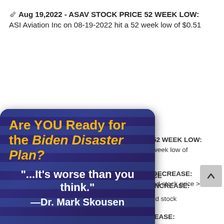Aug 19,2022 - ASAV STOCK PRICE 52 WEEK LOW: ASI Aviation Inc on 08-19-2022 hit a 52 week low of $0.51
[Figure (screenshot): Advertisement popup overlay with dark blue background and American flag imagery. Text reads: 'Are YOU Ready for the Biden Disaster Plan?' in bold yellow/orange. Below: '"...It's worse than you think." —Dr. Mark Skousen' in white. Red button at bottom: 'CLICK HERE TO WATCH >']
52 WEEK LOW: week low of
DECREASE: ed stock price >
CE INCREASE:
Awakn Life Sciences Inc on 08-19-2022 increased stock
Aug 19,2022 - PRDYE STOCK PRICE INCREASE: